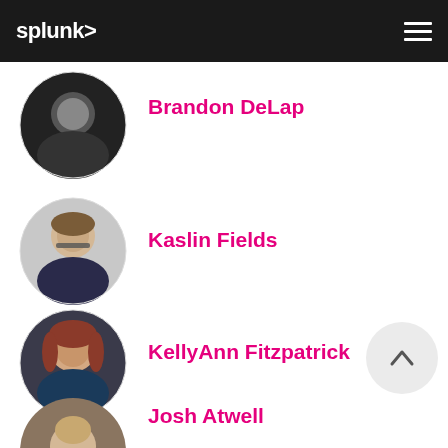splunk>
Brandon DeLap
[Figure (photo): Circular profile photo of Brandon DeLap, black and white portrait of a man in dark clothing]
Kaslin Fields
[Figure (photo): Circular profile photo of Kaslin Fields, a woman with glasses and short brown hair]
KellyAnn Fitzpatrick
[Figure (photo): Circular profile photo of KellyAnn Fitzpatrick, a woman with reddish-brown hair]
Josh Atwell
[Figure (photo): Circular profile photo of Josh Atwell, a man with beard partially visible at bottom of page]